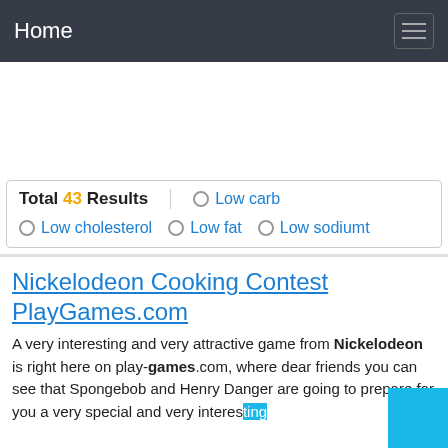Home
Total 43 Results
Low carb
Low cholesterol
Low fat
Low sodiumt
Nickelodeon Cooking Contest PlayGames.com
A very interesting and very attractive game from Nickelodeon is right here on play-games.com, where dear friends you can see that Spongebob and Henry Danger are going to prepare for you a very special and very interesting